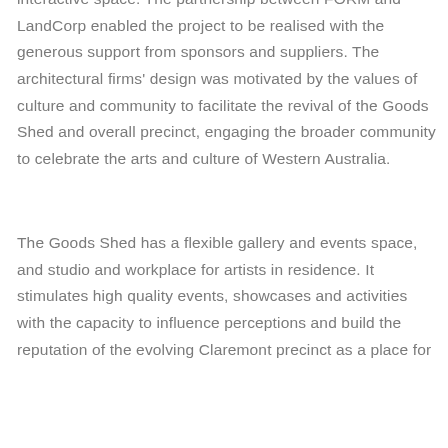interactive space. The partnership between FORM and LandCorp enabled the project to be realised with the generous support from sponsors and suppliers. The architectural firms' design was motivated by the values of culture and community to facilitate the revival of the Goods Shed and overall precinct, engaging the broader community to celebrate the arts and culture of Western Australia.
The Goods Shed has a flexible gallery and events space, and studio and workplace for artists in residence. It stimulates high quality events, showcases and activities with the capacity to influence perceptions and build the reputation of the evolving Claremont precinct as a place for